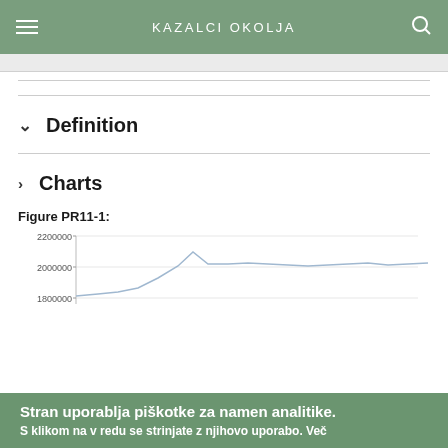KAZALCI OKOLJA
Definition
Charts
Figure PR11-1:
[Figure (line-chart): Partial line chart showing values between 1800000 and 2200000, with an upward trend over time]
Stran uporablja piškotke za namen analitike. S klikom na v redu se strinjate z njihovo uporabo. Več